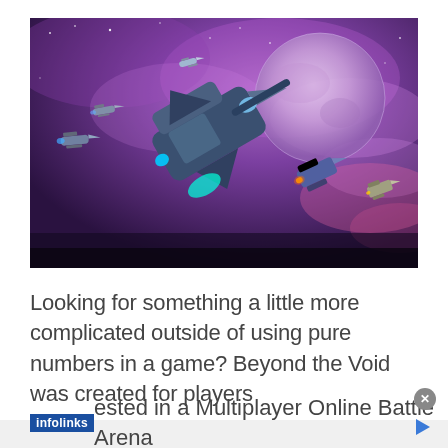[Figure (illustration): A science fiction space battle scene showing multiple spaceships flying through a purple nebula sky with a large moon/planet in the background. The main ship is large and in the foreground, with several smaller ships in the distance, all with glowing engines.]
Looking for something a little more complicated outside of using pure numbers in a game? Beyond the Void was created for players interested in a Multiplayer Online Battle Arena